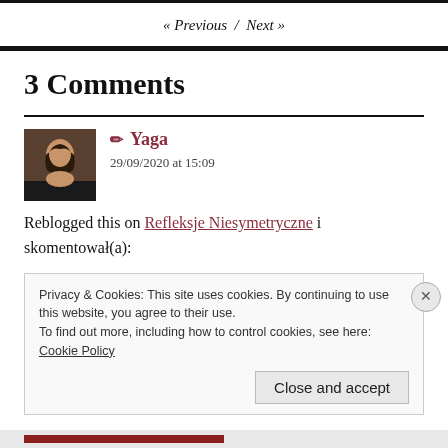« Previous / Next »
3 Comments
✏ Yaga
29/09/2020 at 15:09
Reblogged this on Refleksje Niesymetryczne i skomentował(a):
Privacy & Cookies: This site uses cookies. By continuing to use this website, you agree to their use.
To find out more, including how to control cookies, see here: Cookie Policy
[Close and accept]